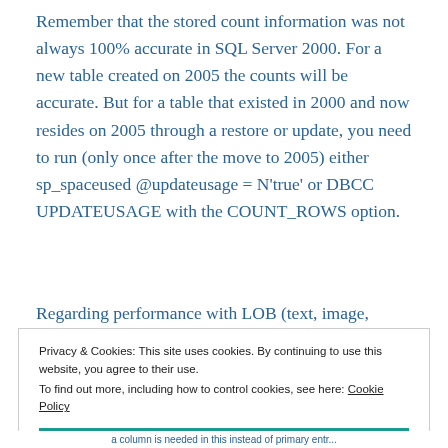Remember that the stored count information was not always 100% accurate in SQL Server 2000. For a new table created on 2005 the counts will be accurate. But for a table that existed in 2000 and now resides on 2005 through a restore or update, you need to run (only once after the move to 2005) either sp_spaceused @updateusage = N'true' or DBCC UPDATEUSAGE with the COUNT_ROWS option.
Regarding performance with LOB (text, image, XML,
Privacy & Cookies: This site uses cookies. By continuing to use this website, you agree to their use.
To find out more, including how to control cookies, see here: Cookie Policy
Close and accept